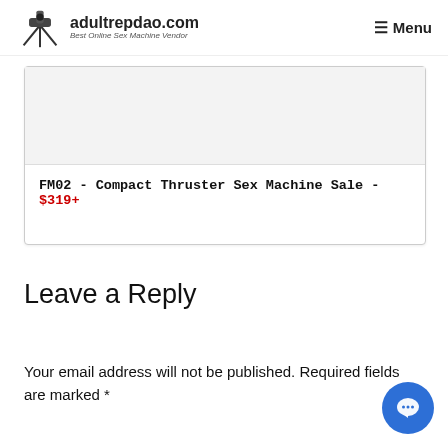adultrepdao.com — Best Online Sex Machine Vendor | Menu
[Figure (other): Product card image placeholder (light gray rectangle)]
FM02 - Compact Thruster Sex Machine Sale - $319+
Leave a Reply
Your email address will not be published. Required fields are marked *